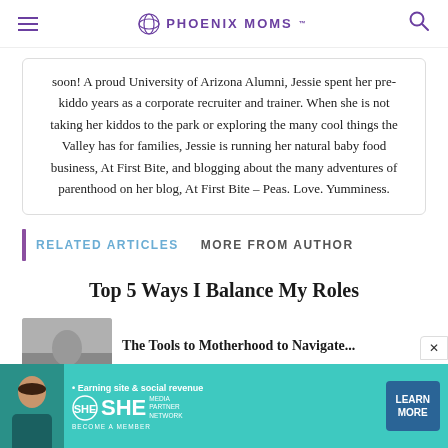PHOENIX MOMS
soon! A proud University of Arizona Alumni, Jessie spent her pre-kiddo years as a corporate recruiter and trainer. When she is not taking her kiddos to the park or exploring the many cool things the Valley has for families, Jessie is running her natural baby food business, At First Bite, and blogging about the many adventures of parenthood on her blog, At First Bite – Peas. Love. Yumminess.
RELATED ARTICLES   MORE FROM AUTHOR
Top 5 Ways I Balance My Roles
The Tools to Motherhood to Navigate...
[Figure (other): SHE Media partner network advertisement banner with photo of woman]